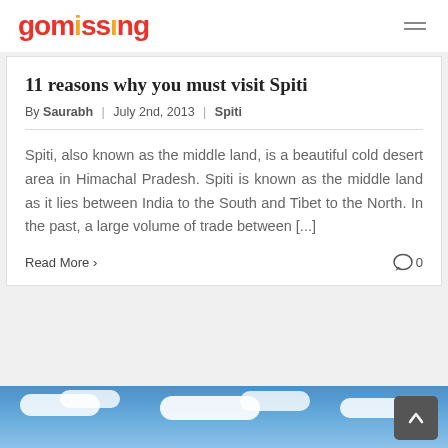gomissing
11 reasons why you must visit Spiti
By Saurabh | July 2nd, 2013 | Spiti
Spiti, also known as the middle land, is a beautiful cold desert area in Himachal Pradesh. Spiti is known as the middle land as it lies between India to the South and Tibet to the North. In the past, a large volume of trade between [...]
Read More › 0
[Figure (photo): Blue sky with white clouds visible at the bottom of the page]